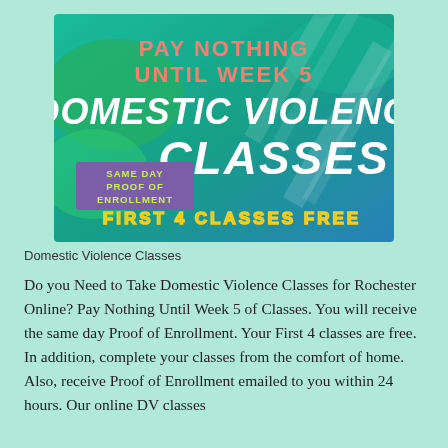[Figure (illustration): Promotional graphic with teal/green gradient background showing text: 'PAY NOTHING UNTIL WEEK 5' in pink/salmon letters, 'DOMESTIC VIOLENCE CLASSES' in large white bold italic text, 'SAME DAY PROOF OF ENROLLMENT' in a purple box, and 'FIRST 4 CLASSES FREE' in yellow outlined letters.]
Domestic Violence Classes
Do you Need to Take Domestic Violence Classes for Rochester Online? Pay Nothing Until Week 5 of Classes. You will receive the same day Proof of Enrollment. Your First 4 classes are free. In addition, complete your classes from the comfort of home. Also, receive Proof of Enrollment emailed to you within 24 hours. Our online DV classes